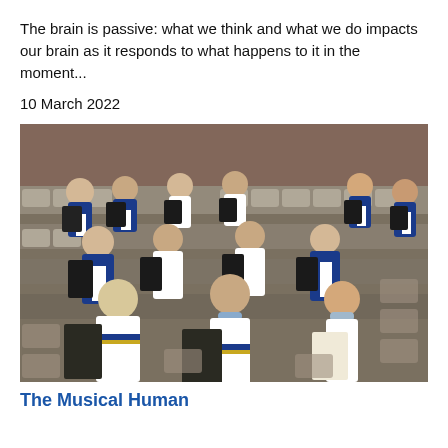The brain is passive: what we think and what we do impacts our brain as it responds to what happens to it in the moment...
10 March 2022
[Figure (photo): Group of school students in blue, white and gold striped uniforms standing in auditorium rows, each holding black sheet music folders and singing, with some wearing face masks pulled down.]
The Musical Human